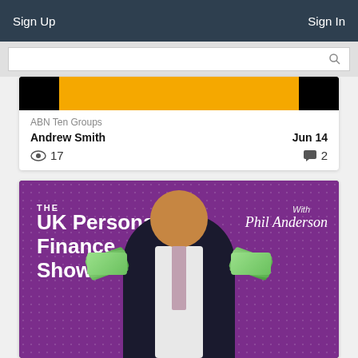Sign Up  Sign In
ABN Ten Groups
Andrew Smith  Jun 14
17  2
[Figure (photo): Promotional banner for 'The UK Personal Finance Show with Phil Anderson' featuring a man in a suit holding fans of currency notes on a purple dotted background.]